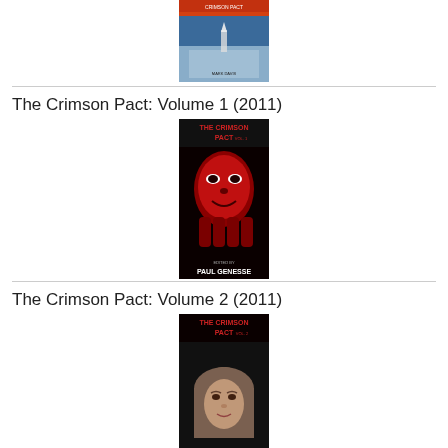[Figure (photo): Book cover image at top of page, partially cropped]
The Crimson Pact: Volume 1 (2011)
[Figure (photo): Book cover for The Crimson Pact Vol. 1, edited by Paul Genesse, showing a red demonic face]
The Crimson Pact: Volume 2 (2011)
[Figure (photo): Book cover for The Crimson Pact Vol. 2, edited by Paul Genesse, showing a woman's face with head covering]